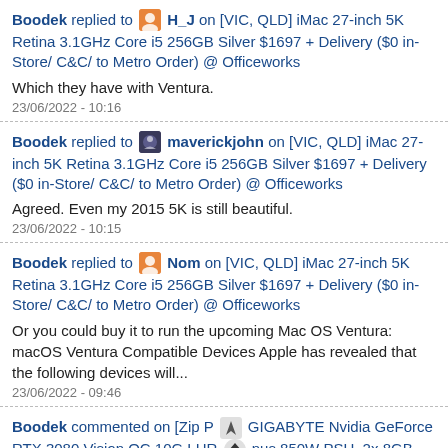Boodek replied to H_J on [VIC, QLD] iMac 27-inch 5K Retina 3.1GHz Core i5 256GB Silver $1697 + Delivery ($0 in-Store/ C&C/ to Metro Order) @ Officeworks
Which they have with Ventura.
23/06/2022 - 10:16
Boodek replied to maverickjohn on [VIC, QLD] iMac 27-inch 5K Retina 3.1GHz Core i5 256GB Silver $1697 + Delivery ($0 in-Store/ C&C/ to Metro Order) @ Officeworks
Agreed. Even my 2015 5K is still beautiful.
23/06/2022 - 10:15
Boodek replied to Nom on [VIC, QLD] iMac 27-inch 5K Retina 3.1GHz Core i5 256GB Silver $1697 + Delivery ($0 in-Store/ C&C/ to Metro Order) @ Officeworks
Or you could buy it to run the upcoming Mac OS Ventura: macOS Ventura Compatible Devices Apple has revealed that the following devices will...
23/06/2022 - 09:46
Boodek commented on [Zip P... GIGABYTE Nvidia GeForce RTX 3080 Vision OC 10G LHR ... nus 850W PSU, 2x 8GB RGB DDR4 3733MHz $1269 Delivered @ BPC Tech